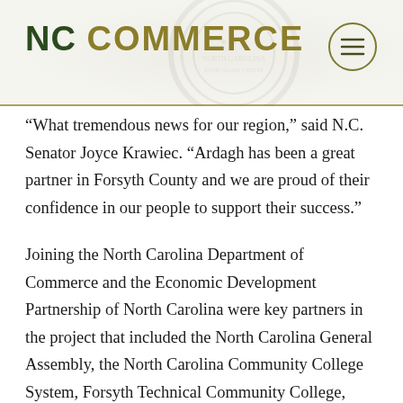NC COMMERCE
“What tremendous news for our region,” said N.C. Senator Joyce Krawiec. “Ardagh has been a great partner in Forsyth County and we are proud of their confidence in our people to support their success.”
Joining the North Carolina Department of Commerce and the Economic Development Partnership of North Carolina were key partners in the project that included the North Carolina General Assembly, the North Carolina Community College System, Forsyth Technical Community College, Forsyth County, Greater Winston-Salem, Inc., and the City of Winston-Salem.